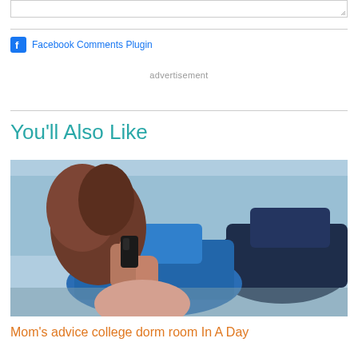[textarea input box]
Facebook Comments Plugin
advertisement
You'll Also Like
[Figure (photo): Woman on phone call in front of two cars involved in an accident, blue car visible in background]
Mom's advice college dorm room In A Day